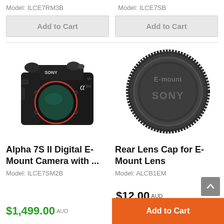Model: ILCE7RM3B
Model: ILCE7SB
Add to Cart
Add to Cart
[Figure (photo): Sony Alpha 7S II mirrorless camera body with red ring around lens mount, black body]
[Figure (photo): Sony E-mount rear lens cap, circular dark gray/black plastic cap with 'E-mount' and 'SONY' text embossed]
Alpha 7S II Digital E-Mount Camera with ...
Rear Lens Cap for E-Mount Lens
Model: ILCE7SM2B
Model: ALCB1EM
$1,499.00 AUD
$12.00 AUD
Add to Cart